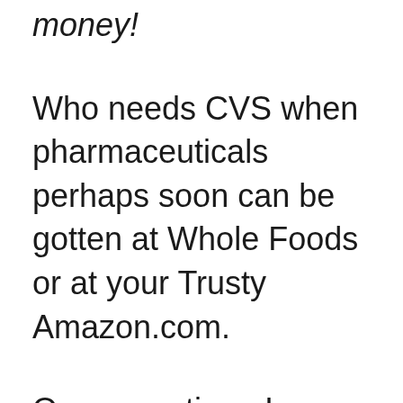money!
Who needs CVS when pharmaceuticals perhaps soon can be gotten at Whole Foods or at your Trusty Amazon.com.
One more time, I see some radical disruption–and this time it will bring you cheaper and more convenient